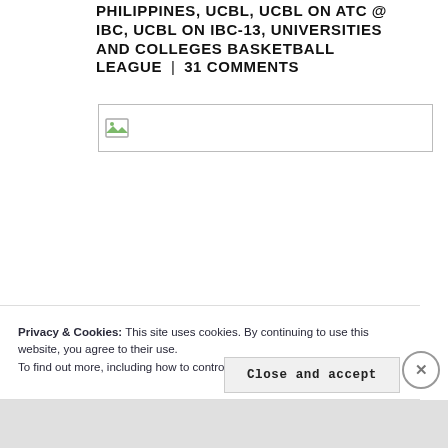PHILIPPINES, UCBL, UCBL ON ATC @ IBC, UCBL ON IBC-13, UNIVERSITIES AND COLLEGES BASKETBALL LEAGUE | 31 COMMENTS
[Figure (other): Broken image placeholder with small image icon in top-left corner, bordered rectangle]
Privacy & Cookies: This site uses cookies. By continuing to use this website, you agree to their use. To find out more, including how to control cookies, see here: Cookie Policy
Close and accept